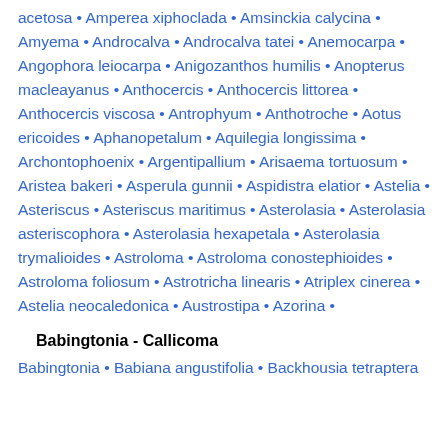acetosa • Amperea xiphoclada • Amsinckia calycina • Amyema • Androcalva • Androcalva tatei • Anemocarpa • Angophora leiocarpa • Anigozanthos humilis • Anopterus macleayanus • Anthocercis • Anthocercis littorea • Anthocercis viscosa • Antrophyum • Anthotroche • Aotus ericoides • Aphanopetalum • Aquilegia longissima • Archontophoenix • Argentipallium • Arisaema tortuosum • Aristea bakeri • Asperula gunnii • Aspidistra elatior • Astelia • Asteriscus • Asteriscus maritimus • Asterolasia • Asterolasia asteriscophora • Asterolasia hexapetala • Asterolasia trymalioides • Astroloma • Astroloma conostephioides • Astroloma foliosum • Astrotricha linearis • Atriplex cinerea • Astelia neocaledonica • Austrostipa • Azorina •
Babingtonia - Callicoma
Babingtonia • Babiana angustifolia • Backhousia tetraptera